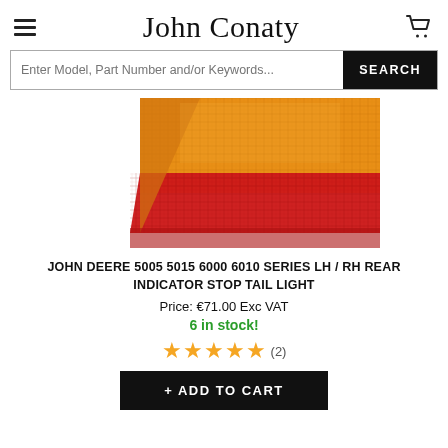John Conaty
Enter Model, Part Number and/or Keywords...  SEARCH
[Figure (photo): Close-up photo of a vehicle tail light lens showing amber/orange top section and red bottom section with textured surface.]
JOHN DEERE 5005 5015 6000 6010 SERIES LH / RH REAR INDICATOR STOP TAIL LIGHT
Price: €71.00 Exc VAT
6 in stock!
★★★★★ (2)
+ ADD TO CART